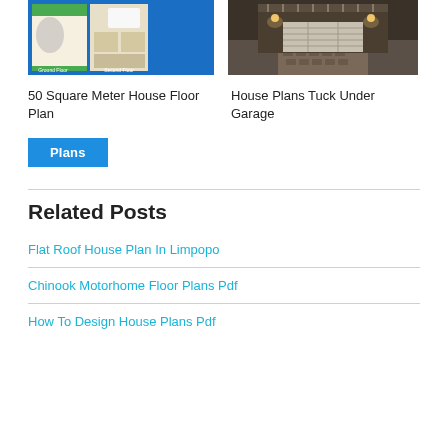[Figure (illustration): Floor plan image showing Ground Floor and Second Floor layout on blue background]
[Figure (photo): Exterior photo of a house with tuck under garage, nighttime/dusk lighting]
50 Square Meter House Floor Plan
House Plans Tuck Under Garage
Plans
Related Posts
Flat Roof House Plan In Limpopo
Chinook Motorhome Floor Plans Pdf
How To Design House Plans Pdf